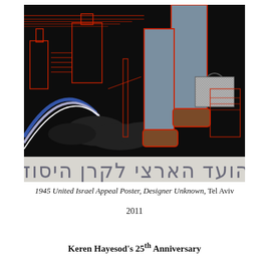[Figure (illustration): 1945 United Israel Appeal poster reproduction. Dark background with red-outlined buildings and industrial cityscape. A large figure in blue-gray trousers and brown boots strides across the scene, carrying a briefcase. Hebrew text in large gray letters on a light banner at the bottom reads: הועד הארצי לקרן היסוד]
1945 United Israel Appeal Poster, Designer Unknown, Tel Aviv 2011
2011
Keren Hayesod's 25th Anniversary